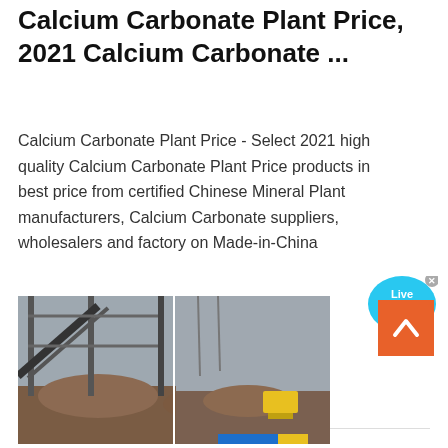Calcium Carbonate Plant Price, 2021 Calcium Carbonate ...
Calcium Carbonate Plant Price - Select 2021 high quality Calcium Carbonate Plant Price products in best price from certified Chinese Mineral Plant manufacturers, Calcium Carbonate suppliers, wholesalers and factory on Made-in-China
[Figure (other): Live Chat button with blue speech bubble and close X]
[Figure (other): Contact us button with dashed orange border]
[Figure (photo): Industrial calcium carbonate plant facility photo showing steel structure, conveyor belts, rubble piles and construction equipment]
[Figure (other): Back to top orange button with upward arrow icon]